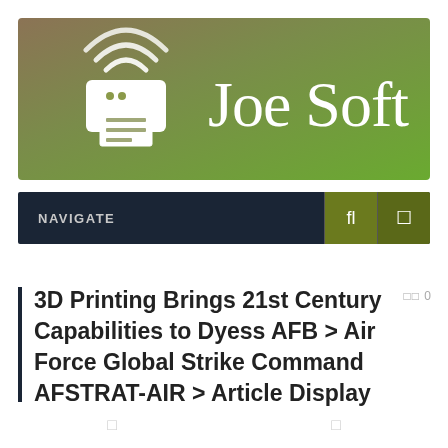[Figure (logo): JoeSoft logo banner with gradient background (brown to green) featuring a wireless printer icon on the left and 'Joe Soft' text in white serif font on the right]
NAVIGATE
3D Printing Brings 21st Century Capabilities to Dyess AFB > Air Force Global Strike Command AFSTRAT-AIR > Article Display